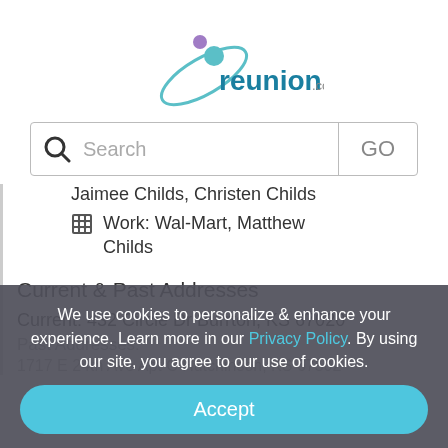[Figure (logo): reunion.com logo with teal and purple figure icon]
[Figure (screenshot): Search bar with magnifying glass icon, placeholder text 'Search', and 'GO' button]
Jaimee Childs, Christen Childs
Work: Wal-Mart, Matthew Childs
Current & Past Addresses
Current: 432 Circle Dr Burrton, KS 67020
Past Addresses:
1717 E 24th Ave Apt C Hutchinson, KS 67502
We use cookies to personalize & enhance your experience. Learn more in our Privacy Policy. By using our site, you agree to our use of cookies.
Accept